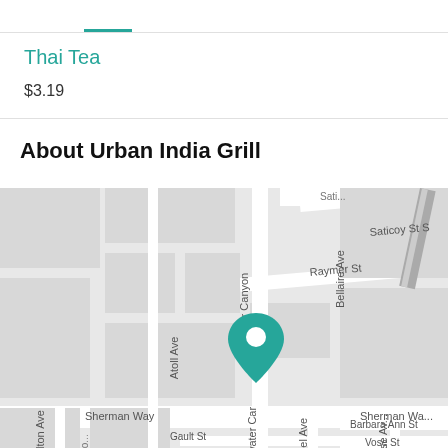Thai Tea
$3.19
About Urban India Grill
[Figure (map): Street map showing location of Urban India Grill near Coldwater Canyon Ave and Sherman Way, with a teal map pin marker. Street labels include Saticoy St S, Bellaire Ave, Raymer St, Coldwater Canyon, Sherman Way, Barbara Ann St, Gault St, Vose St, Atoll Ave, Fulton Ave, Ethel Ave, Morse Ave.]